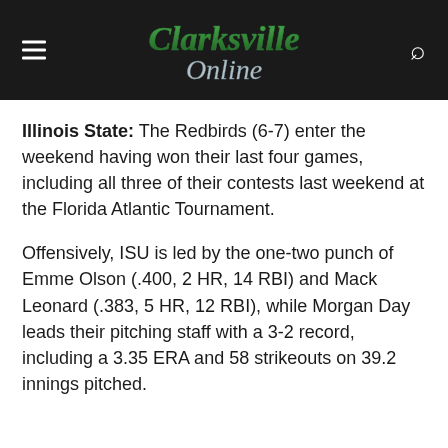Clarksville Online
Illinois State: The Redbirds (6-7) enter the weekend having won their last four games, including all three of their contests last weekend at the Florida Atlantic Tournament.

Offensively, ISU is led by the one-two punch of Emme Olson (.400, 2 HR, 14 RBI) and Mack Leonard (.383, 5 HR, 12 RBI), while Morgan Day leads their pitching staff with a 3-2 record, including a 3.35 ERA and 58 strikeouts on 39.2 innings pitched.
[40center]